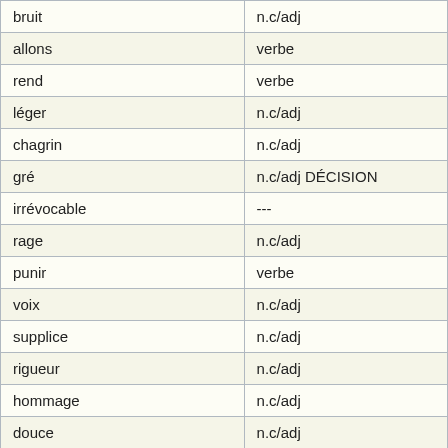| word | type |
| --- | --- |
| bruit | n.c/adj |
| allons | verbe |
| rend | verbe |
| léger | n.c/adj |
| chagrin | n.c/adj |
| gré | n.c/adj DÉCISION |
| irrévocable | --- |
| rage | n.c/adj |
| punir | verbe |
| voix | n.c/adj |
| supplice | n.c/adj |
| rigueur | n.c/adj |
| hommage | n.c/adj |
| douce | n.c/adj |
| premier | n.c/adj |
| beauté | n.c/adj |
| quittez | verbe |